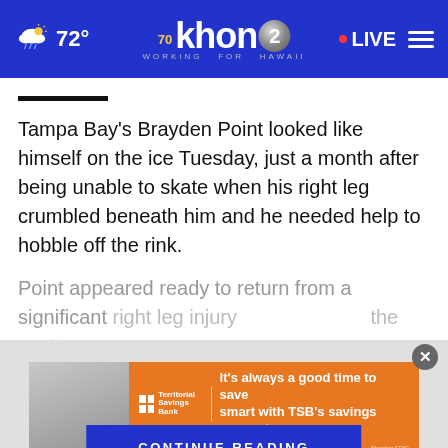72° khon2 WORKING FOR HAWAII LIVE
Tampa Bay's Brayden Point looked like himself on the ice Tuesday, just a month after being unable to skate when his right leg crumbled beneath him and he needed help to hobble off the rink.
Point appeared ready to return from a significant right leg injury ... the past two rounds of the ... not run to the
[Figure (other): CONTINUE READING button overlay in blue]
[Figure (other): Advertisement banner: Territorial Savings Bank - It's always a good time to save smart with TSB's savings accounts. Member FDIC.]